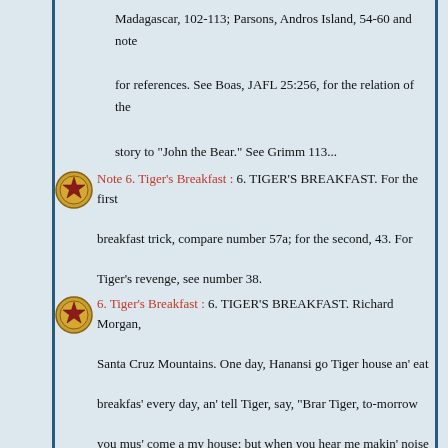Madagascar, 102-113; Parsons, Andros Island, 54-60 and note for references. See Boas, JAFL 25:256, for the relation of the story to "John the Bear." See Grimm 113...
Note 6. Tiger's Breakfast : 6. TIGER'S BREAKFAST. For the first breakfast trick, compare number 57a; for the second, 43. For Tiger's revenge, see number 38.
6. Tiger's Breakfast : 6. TIGER'S BREAKFAST. Richard Morgan, Santa Cruz Mountains. One day, Hanansi go Tiger house an' eat breakfas' every day, an' tell Tiger, say, "Brar Tiger, to-morrow you mus' come a my house; but when you hear me makin' noise you mus' come, for dat time breakfas' is on, but when you hear me stay...
Note 63. The Pea That Made A Fortune : 63. THE PEA THAT MADE A FORTUNE. Compare: Bleek, 90-94; Callaway, 37-40; Theal, 102-105; Renel 2:60-63; Rivire 93-97; Tremearne 237-